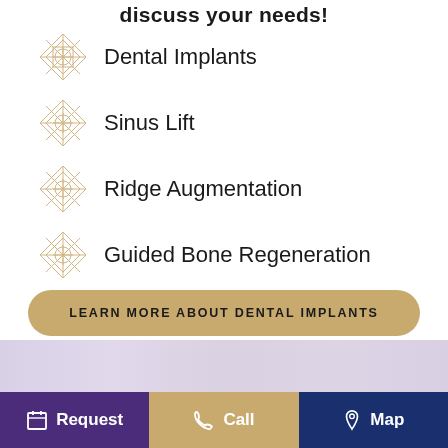discuss your needs!
Dental Implants
Sinus Lift
Ridge Augmentation
Guided Bone Regeneration
LEARN MORE ABOUT DENTAL IMPLANTS
Request  Call  Map